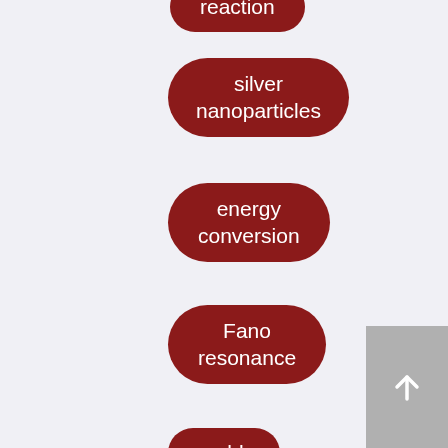[Figure (infographic): A vertical list of keyword/tag pills (rounded rectangle badges) in dark red with white text, showing scientific topics: reaction (partially visible at top), silver nanoparticles, energy conversion, Fano resonance, gold, nanostructures, electrochemistry, nanocrystals, dependence, Li-S (partially visible at bottom). A grey scroll-to-top button with an upward arrow is in the bottom right corner.]